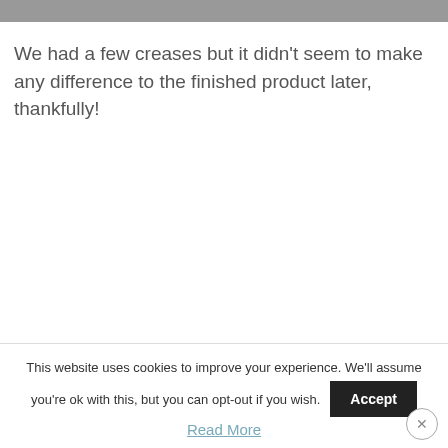[Figure (photo): Top portion of an image, partially cropped, showing a gray/muted background.]
We had a few creases but it didn't seem to make any difference to the finished product later, thankfully!
This website uses cookies to improve your experience. We'll assume you're ok with this, but you can opt-out if you wish. Accept
Read More